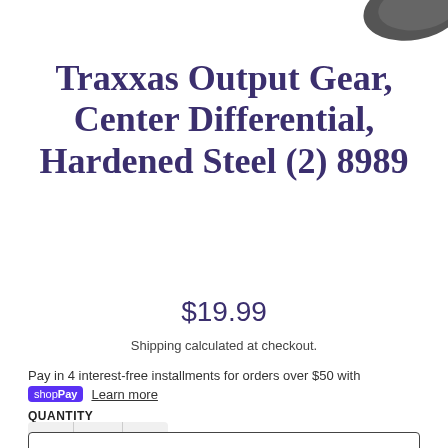[Figure (photo): Partial product image in top right corner, dark colored gear component]
Traxxas Output Gear, Center Differential, Hardened Steel (2) 8989
$19.99
Shipping calculated at checkout.
Pay in 4 interest-free installments for orders over $50 with shop Pay Learn more
QUANTITY
1
ADD TO CART